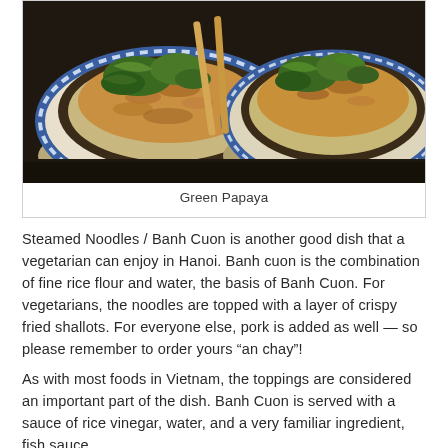[Figure (photo): Two blue-and-white ceramic bowls filled with Vietnamese noodle dish topped with crispy fried shallots, fresh herbs, and served with chopsticks on a dark surface]
Green Papaya
Steamed Noodles / Banh Cuon is another good dish that a vegetarian can enjoy in Hanoi. Banh cuon is the combination of fine rice flour and water, the basis of Banh Cuon. For vegetarians, the noodles are topped with a layer of crispy fried shallots. For everyone else, pork is added as well — so please remember to order yours “an chay”!
As with most foods in Vietnam, the toppings are considered an important part of the dish. Banh Cuon is served with a sauce of rice vinegar, water, and a very familiar ingredient, fish sauce.